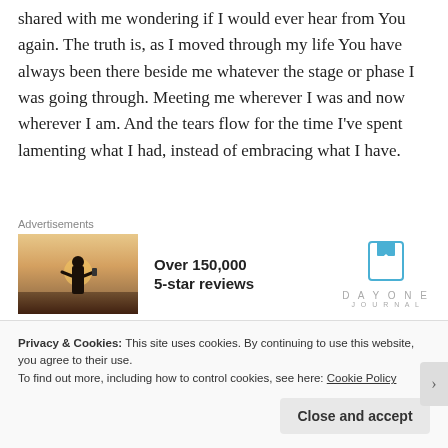shared with me wondering if I would ever hear from You again. The truth is, as I moved through my life You have always been there beside me whatever the stage or phase I was going through. Meeting me wherever I was and now wherever I am. And the tears flow for the time I've spent lamenting what I had, instead of embracing what I have.
[Figure (infographic): Advertisement block: photo of person photographing sunset, text 'Over 150,000 5-star reviews', Day One Journal logo with bookmark icon]
I am finally believing that when You say You will never leave me, that's exactly what You mean. . . You really mean
Privacy & Cookies: This site uses cookies. By continuing to use this website, you agree to their use.
To find out more, including how to control cookies, see here: Cookie Policy
Close and accept